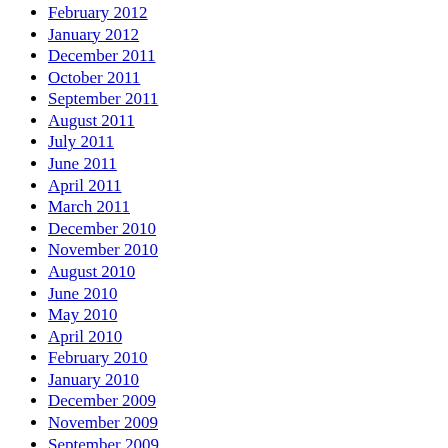February 2012
January 2012
December 2011
October 2011
September 2011
August 2011
July 2011
June 2011
April 2011
March 2011
December 2010
November 2010
August 2010
June 2010
May 2010
April 2010
February 2010
January 2010
December 2009
November 2009
September 2009
August 2009
July 2009
June 2009
May 2009